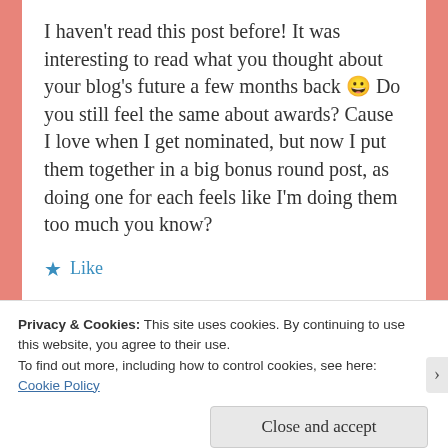I haven't read this post before! It was interesting to read what you thought about your blog's future a few months back 😀 Do you still feel the same about awards? Cause I love when I get nominated, but now I put them together in a big bonus round post, as doing one for each feels like I'm doing them too much you know?
★ Like
Privacy & Cookies: This site uses cookies. By continuing to use this website, you agree to their use.
To find out more, including how to control cookies, see here:
Cookie Policy
Close and accept